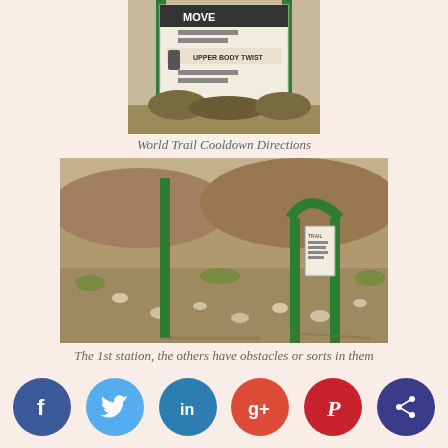[Figure (photo): Outdoor fitness trail sign showing exercise directions including Upper Body Twist, mounted between two green metal poles with dry brush vegetation in background]
World Trail Cooldown Directions
[Figure (photo): First station of an outdoor fitness trail with two green metal poles forming a U-shape, surrounded by dirt ground with small rocks and dry grass]
The 1st station, the others have obstacles or sorts in them
[Figure (infographic): Social media sharing bar with icons: Facebook (blue), Twitter (light blue), LinkedIn (teal), Google+ (red), Pinterest (dark red), Share (dark blue)]